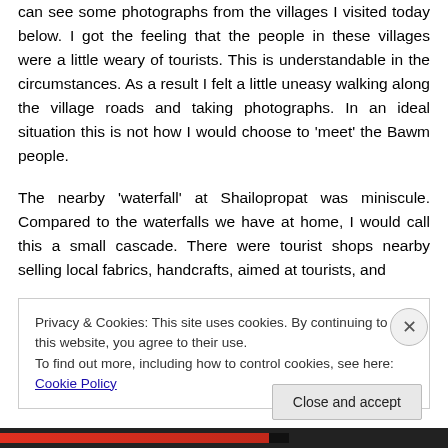can see some photographs from the villages I visited today below. I got the feeling that the people in these villages were a little weary of tourists. This is understandable in the circumstances. As a result I felt a little uneasy walking along the village roads and taking photographs. In an ideal situation this is not how I would choose to 'meet' the Bawm people.
The nearby 'waterfall' at Shailopropat was miniscule. Compared to the waterfalls we have at home, I would call this a small cascade. There were tourist shops nearby selling local fabrics, handcrafts, aimed at tourists, and...
Privacy & Cookies: This site uses cookies. By continuing to use this website, you agree to their use.
To find out more, including how to control cookies, see here: Cookie Policy